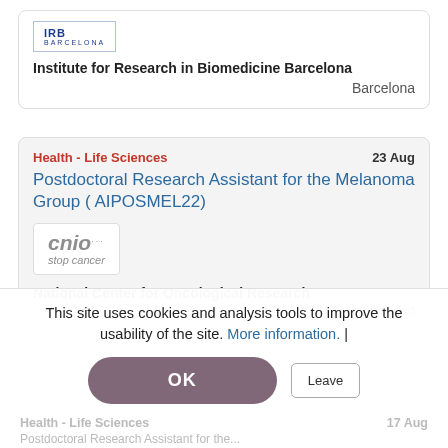[Figure (logo): IRB Barcelona logo – blue text with horizontal lines]
Institute for Research in Biomedicine Barcelona
Barcelona
Health - Life Sciences   23 Aug
Postdoctoral Research Assistant for the Melanoma Group ( AIPOSMEL22)
[Figure (logo): CNIO stop cancer logo in grey italic]
National Center for Oncological Research
Madrid
This site uses cookies and analysis tools to improve the usability of the site. More information. |
Health - Life Sciences   17 Aug